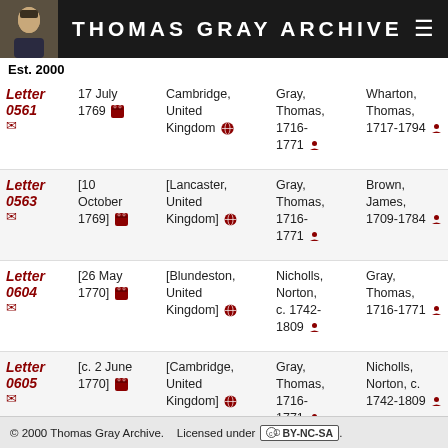THOMAS GRAY ARCHIVE
Est. 2000
Letter 0561 | 17 July 1769 | Cambridge, United Kingdom | Gray, Thomas, 1716-1771 | Wharton, Thomas, 1717-1794
Letter 0563 | [10 October 1769] | [Lancaster, United Kingdom] | Gray, Thomas, 1716-1771 | Brown, James, 1709-1784
Letter 0604 | [26 May 1770] | [Blundeston, United Kingdom] | Nicholls, Norton, c. 1742-1809 | Gray, Thomas, 1716-1771
Letter 0605 | [c. 2 June 1770] | [Cambridge, United Kingdom] | Gray, Thomas, 1716-1771 | Nicholls, Norton, c. 1742-1809
© 2000 Thomas Gray Archive. Licensed under CC BY-NC-SA.